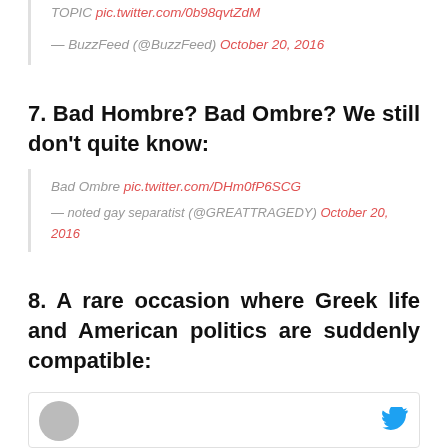TOPIC pic.twitter.com/0b98qvtZdM
— BuzzFeed (@BuzzFeed) October 20, 2016
7. Bad Hombre? Bad Ombre? We still don't quite know:
Bad Ombre pic.twitter.com/DHm0fP6SCG
— noted gay separatist (@GREATTRAGEDY) October 20, 2016
8. A rare occasion where Greek life and American politics are suddenly compatible:
[Figure (screenshot): Bottom of a tweet card showing a user avatar circle on the left and a Twitter bird icon on the right, partially visible.]